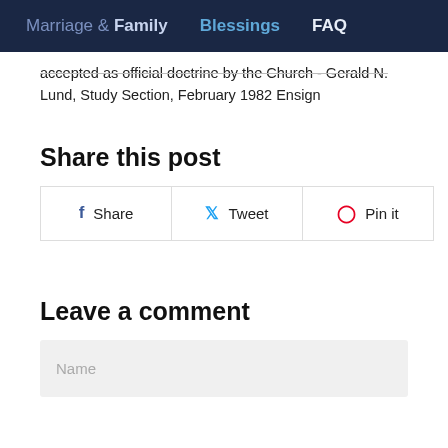Marriage & Family   Blessings   FAQ
accepted as official doctrine by the Church  - Gerald N. Lund, Study Section, February 1982 Ensign
Share this post
Share   Tweet   Pin it
Leave a comment
Name